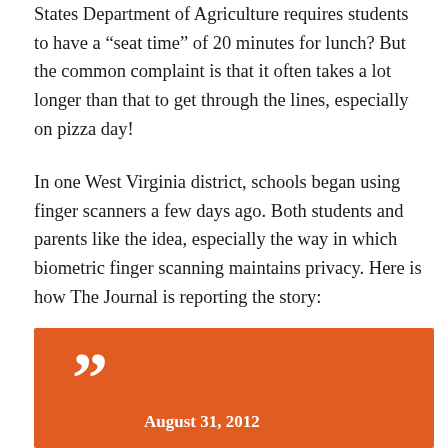States Department of Agriculture requires students to have a “seat time” of 20 minutes for lunch? But the common complaint is that it often takes a lot longer than that to get through the lines, especially on pizza day!
In one West Virginia district, schools began using finger scanners a few days ago. Both students and parents like the idea, especially the way in which biometric finger scanning maintains privacy. Here is how The Journal is reporting the story:
[Figure (other): Orange quote block with closing quotation mark and date August 31, 2012 at the bottom]